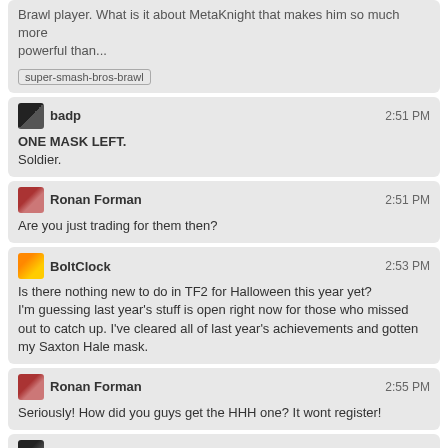Brawl player. What is it about MetaKnight that makes him so much more powerful than...
super-smash-bros-brawl
badp 2:51 PM
ONE MASK LEFT.
Soldier.
Ronan Forman 2:51 PM
Are you just trading for them then?
BoltClock 2:53 PM
Is there nothing new to do in TF2 for Halloween this year yet?
I'm guessing last year's stuff is open right now for those who missed out to catch up. I've cleared all of last year's achievements and gotten my Saxton Hale mask.
Ronan Forman 2:55 PM
Seriously! How did you guys get the HHH one? It wont register!
GnomeSlice 2:56 PM
@Lazers Speed, small hitbox.
0 - 15h
15 - 16h
16 - 17h
17 - 19h
19 - 0h
← prev day
next day →
last day »
join this room